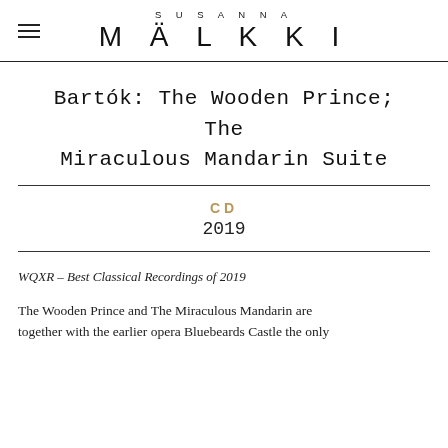SUSANNA MÄLKKI
Bartók: The Wooden Prince; The Miraculous Mandarin Suite
CD
2019
WQXR - Best Classical Recordings of 2019
The Wooden Prince and The Miraculous Mandarin are together with the earlier opera Bluebeards Castle the only